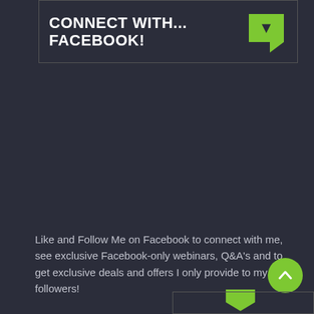CONNECT WITH... FACEBOOK!
[Figure (illustration): Green arrow/bookmark icon pointing down-right]
Like and Follow Me on Facebook to connect with me, see exclusive Facebook-only webinars, Q&A's and to get exclusive deals and offers I only provide to my FB followers!
[Figure (illustration): Green circular scroll-to-top button with upward chevron]
[Figure (illustration): Green arrow/bookmark icon at bottom right, partially visible]